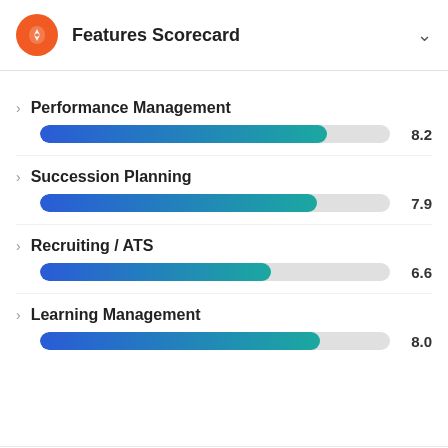Features Scorecard
[Figure (bar-chart): Performance Management]